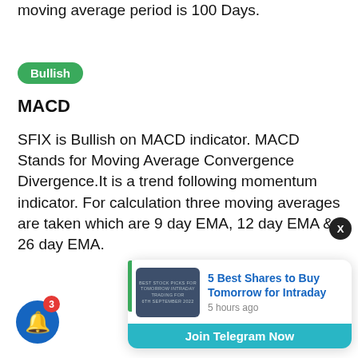moving average period is 100 Days.
Bullish
MACD
SFIX is Bullish on MACD indicator. MACD Stands for Moving Average Convergence Divergence.It is a trend following momentum indicator. For calculation three moving averages are taken which are 9 day EMA, 12 day EMA & 26 day EMA.
[Figure (screenshot): Notification popup card showing '5 Best Shares to Buy Tomorrow for Intraday' article link with a teal thumbnail, posted 5 hours ago, with a 'Join Telegram Now' button at the bottom.]
[Figure (other): Blue circular notification bell button with red badge showing count 3, and an X close button for the popup.]